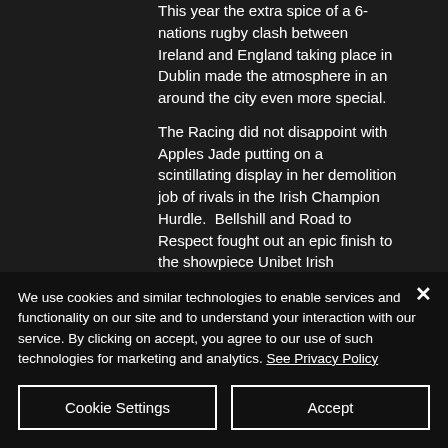This year the extra spice of a 6-nations rugby clash between Ireland and England taking place in Dublin made the atmosphere in an around the city even more special. The Racing did not disappoint with Apples Jade putting on a scintillating display in her demolition job of rivals in the Irish Champion Hurdle.  Bellshill and Road to Respect fought out an epic finish to the showpiece Unibet Irish
We use cookies and similar technologies to enable services and functionality on our site and to understand your interaction with our service. By clicking on accept, you agree to our use of such technologies for marketing and analytics. See Privacy Policy